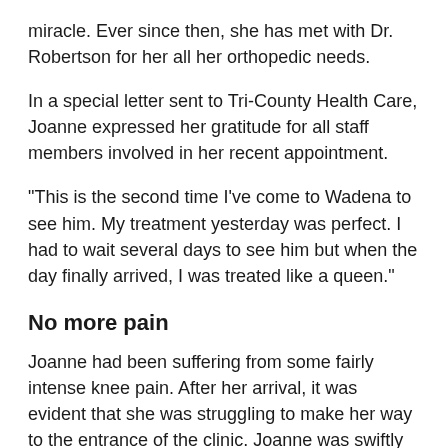miracle. Ever since then, she has met with Dr. Robertson for her all her orthopedic needs.
In a special letter sent to Tri-County Health Care, Joanne expressed her gratitude for all staff members involved in her recent appointment.
“This is the second time I’ve come to Wadena to see him. My treatment yesterday was perfect. I had to wait several days to see him but when the day finally arrived, I was treated like a queen.”
No more pain
Joanne had been suffering from some fairly intense knee pain. After her arrival, it was evident that she was struggling to make her way to the entrance of the clinic. Joanne was swiftly assisted by a patient escort. He got her a wheelchair and made polite conversation all the way to her